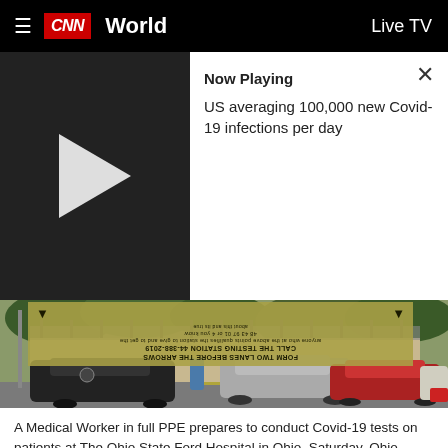CNN World | Live TV
Now Playing
US averaging 100,000 new Covid-19 infections per day
[Figure (photo): Drive-through COVID-19 testing site with a medical worker in full PPE standing between cars. A banner sign with arrows is visible overhead. Multiple cars line up in a parking area near a building.]
A Medical Worker in full PPE prepares to conduct Covid-19 tests on patients at The Ohio State Ford Hospital in Ohio. Saturday, Ohio McMullen...